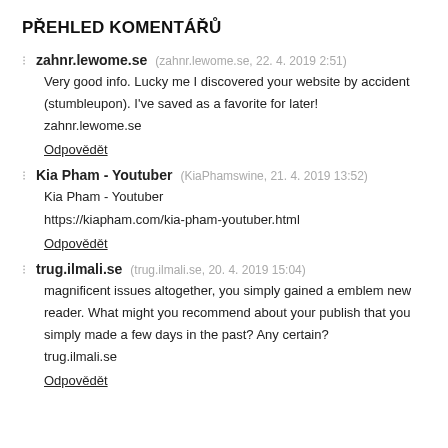PŘEHLED KOMENTÁŘŮ
zahnr.lewome.se  (zahnr.lewome.se, 22. 4. 2019 2:51)
Very good info. Lucky me I discovered your website by accident (stumbleupon). I've saved as a favorite for later!
zahnr.lewome.se
Odpovědět
Kia Pham - Youtuber  (KiaPhamswine, 21. 4. 2019 13:52)
Kia Pham - Youtuber
https://kiapham.com/kia-pham-youtuber.html
Odpovědět
trug.ilmali.se  (trug.ilmali.se, 20. 4. 2019 15:04)
magnificent issues altogether, you simply gained a emblem new reader. What might you recommend about your publish that you simply made a few days in the past? Any certain?
trug.ilmali.se
Odpovědět